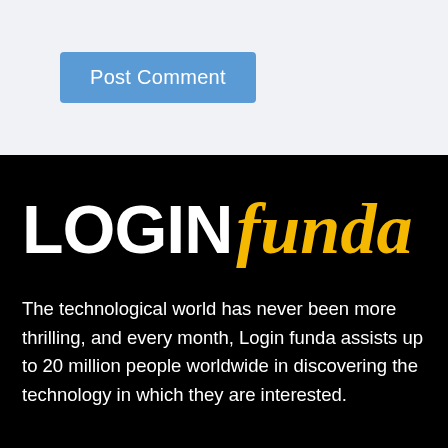[Figure (screenshot): A blue 'Post Comment' button on a light grey background]
[Figure (logo): LoginFunda logo — 'LOGIN' in bold white sans-serif and 'funda' in italic gold script on a black background]
The technological world has never been more thrilling, and every month, Login funda assists up to 20 million people worldwide in discovering the technology in which they are interested.